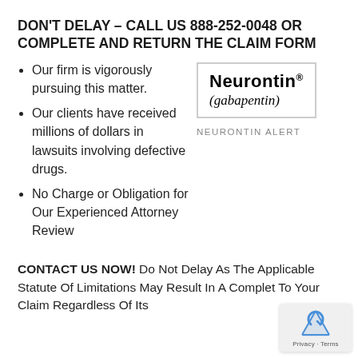DON'T DELAY – CALL US 888-252-0048 OR COMPLETE AND RETURN THE CLAIM FORM
Our firm is vigorously pursuing this matter.
[Figure (logo): Neurontin (gabapentin) drug logo with border, and caption 'NEURONTIN ALERT' below]
Our clients have received millions of dollars in lawsuits involving defective drugs.
No Charge or Obligation for Our Experienced Attorney Review
CONTACT US NOW! Do Not Delay As The Applicable Statute Of Limitations May Result In A Complet... To Your Claim Regardless Of Its